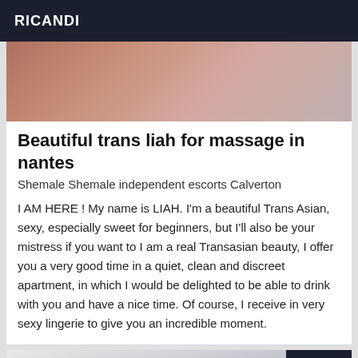RICANDI
[Figure (photo): Partial view of a person, upper body, cropped image used as listing thumbnail]
Beautiful trans liah for massage in nantes
Shemale Shemale independent escorts Calverton
I AM HERE ! My name is LIAH. I'm a beautiful Trans Asian, sexy, especially sweet for beginners, but I'll also be your mistress if you want to I am a real Transasian beauty, I offer you a very good time in a quiet, clean and discreet apartment, in which I would be delighted to be able to drink with you and have a nice time. Of course, I receive in very sexy lingerie to give you an incredible moment.
[Figure (photo): Interior room photo with a 'Verified' badge overlay in the top right corner]